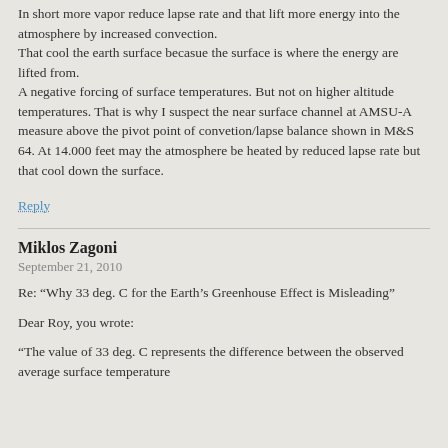In short more vapor reduce lapse rate and that lift more energy into the atmosphere by increased convection. That cool the earth surface becasue the surface is where the energy are lifted from. A negative forcing of surface temperatures. But not on higher altitude temperatures. That is why I suspect the near surface channel at AMSU-A measure above the pivot point of convetion/lapse balance shown in M&S 64. At 14.000 feet may the atmosphere be heated by reduced lapse rate but that cool down the surface.
Reply
Miklos Zagoni
September 21, 2010
Re: “Why 33 deg. C for the Earth’s Greenhouse Effect is Misleading”
Dear Roy, you wrote:
“The value of 33 deg. C represents the difference between the observed average surface temperature